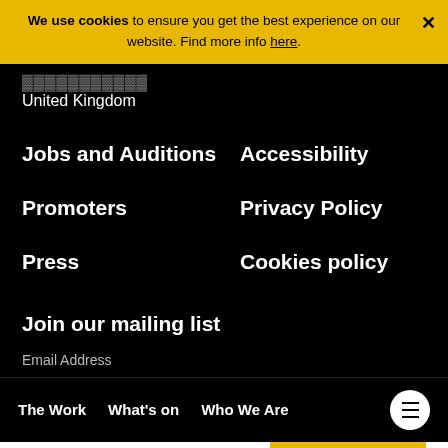We use cookies to ensure you get the best experience on our website. Find more info here.
United Kingdom
Jobs and Auditions
Accessibility
Promoters
Privacy Policy
Press
Cookies policy
Join our mailing list
Email Address
CONTINUE
The Work   What's on   Who We Are